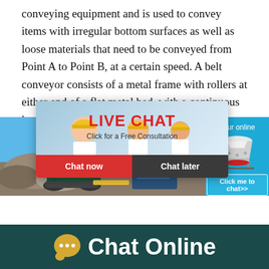conveying equipment and is used to convey items with irregular bottom surfaces as well as loose materials that need to be conveyed from Point A to Point B, at a certain speed. A belt conveyor consists of a metal frame with rollers at either end of a flat metal bed, with a continuous loop of conveyor belt which rotates about these pulleys ...
[Figure (photo): Live chat popup overlay showing workers in hard hats with 'LIVE CHAT' text in red, 'Click for a Free Consultation' subtitle, and 'Chat now' / 'Chat later' buttons. Background shows industrial mining machinery scene. Right side panel shows a cone crusher machine with 'hour online' text and 'Click me to chat>>' button on blue background.]
Chat Online